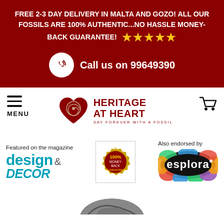FREE 2-3 DAY DELIVERY IN MALTA AND GOZO! ALL OUR FOSSILS ARE 100% AUTHENTIC...no hassle MONEY-BACK GUARANTEE! ★★★★★
Call us on 99649390
[Figure (logo): Heritage At Heart logo with heart/ammonite icon and tagline SAY FOREVER WITH A FOSSIL]
MENU
Featured on the magazine
[Figure (logo): design & DECOR magazine logo in teal]
[Figure (logo): 100% Money Back Guaranteed badge/seal]
Also endorsed by
[Figure (logo): Esplora logo on colorful blob background]